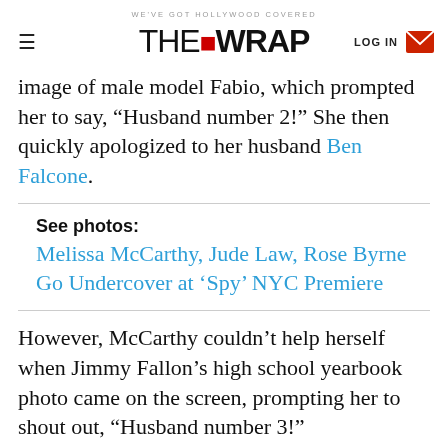WE'VE GOT HOLLYWOOD COVERED | THE WRAP | LOG IN
image of male model Fabio, which prompted her to say, “Husband number 2!” She then quickly apologized to her husband Ben Falcone.
See photos:
Melissa McCarthy, Jude Law, Rose Byrne Go Undercover at ‘Spy’ NYC Premiere
However, McCarthy couldn’t help herself when Jimmy Fallon’s high school yearbook photo came on the screen, prompting her to shout out, “Husband number 3!”
The segment ended with both Fallon and McCarthy